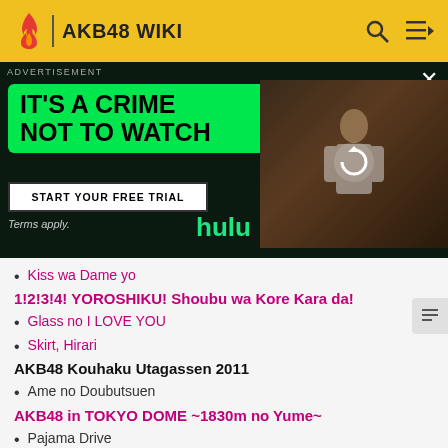AKB48 WIKI
[Figure (screenshot): Hulu advertisement banner with text 'IT'S A CRIME NOT TO WATCH', 'START YOUR FREE TRIAL' button, Hulu logo, and a photo of a person in a library setting on dark background]
Kiss wa Dame yo
1!2!3!4! YOROSHIKU! Shoubu wa Kore Kara da!
Glass no I LOVE YOU
Skirt, Hirari
AKB48 Kouhaku Utagassen 2011
Ame no Doubutsuen
AKB48 in TOKYO DOME ~1830m no Yume~
Pajama Drive